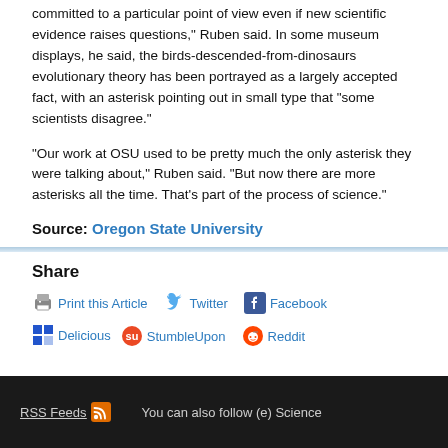committed to a particular point of view even if new scientific evidence raises questions," Ruben said. In some museum displays, he said, the birds-descended-from-dinosaurs evolutionary theory has been portrayed as a largely accepted fact, with an asterisk pointing out in small type that "some scientists disagree."
"Our work at OSU used to be pretty much the only asterisk they were talking about," Ruben said. "But now there are more asterisks all the time. That's part of the process of science."
Source: Oregon State University
Share
Print this Article
Twitter
Facebook
Delicious
StumbleUpon
Reddit
RSS Feeds   You can also follow (e) Science